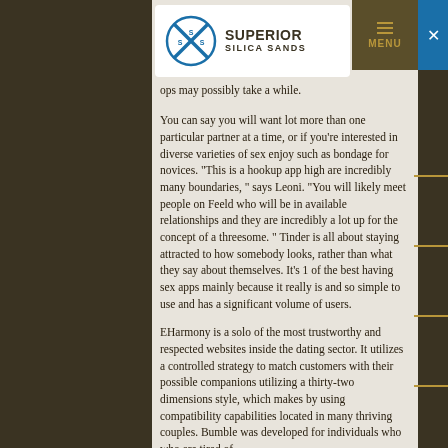Superior Silica Sands | MENU
ops may possibly take a while.
You can say you will want lot more than one particular partner at a time, or if you're interested in diverse varieties of sex enjoy such as bondage for novices. “This is a hookup app high are incredibly many boundaries, ” says Leoni. “You will likely meet people on Feeld who will be in available relationships and they are incredibly a lot up for the concept of a threesome. ” Tinder is all about staying attracted to how somebody looks, rather than what they say about themselves. It’s 1 of the best having sex apps mainly because it really is and so simple to use and has a significant volume of users.
EHarmony is a solo of the most trustworthy and respected websites inside the dating sector. It utilizes a controlled strategy to match customers with their possible companions utilizing a thirty-two dimensions style, which makes by using compatibility capabilities located in many thriving couples. Bumble was developed for individuals who who are tired of trying to find a nice partner through online sites. Bumble